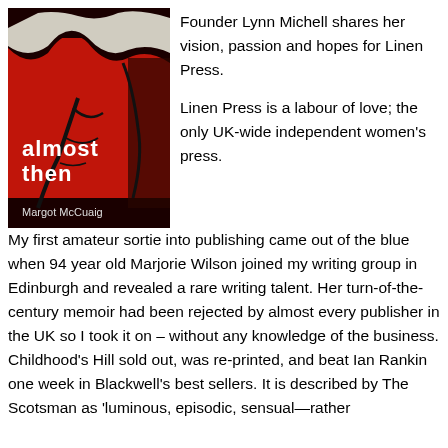[Figure (photo): Book cover of 'almost then' by Margot McCuaig, published by Linen Press. Dark red background with abstract imagery and white text.]
Founder Lynn Michell shares her vision, passion and hopes for Linen Press.
Linen Press is a labour of love; the only UK-wide independent women's press.
My first amateur sortie into publishing came out of the blue when 94 year old Marjorie Wilson joined my writing group in Edinburgh and revealed a rare writing talent. Her turn-of-the-century memoir had been rejected by almost every publisher in the UK so I took it on – without any knowledge of the business. Childhood's Hill sold out, was re-printed, and beat Ian Rankin one week in Blackwell's best sellers. It is described by The Scotsman as 'luminous, episodic, sensual—rather